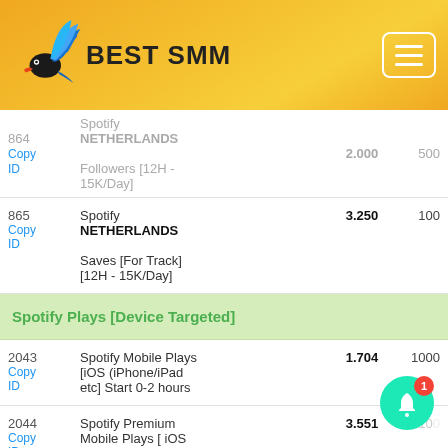Best SMM
| ID | Service | Rate | Min |
| --- | --- | --- | --- |
| 864 | Spotify NETHERLANDS Followers [12H - 15K/Day] | 2.000 | 500 |
| 865
Copy ID | Spotify NETHERLANDS Saves [For Track] [12H - 15K/Day] | 3.250 | 100 |
| Section: Spotify Plays [Device Targeted] |  |  |  |
| 2043
Copy ID | Spotify Mobile Plays [iOS (iPhone/iPad etc] Start 0-2 hours | 1.704 | 1000 |
| 2044
Copy ID | Spotify Premium Mobile Plays [ iOS [iPhone/iPad...] | 3.551 | 100 |